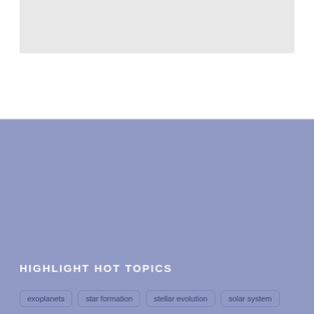[Figure (other): Gray image placeholder box at top of page]
HIGHLIGHT HOT TOPICS
exoplanets
star formation
stellar evolution
solar system
AAS meeting
magnetic fields
AAS publishing
planet formation
black holes
atmospheres
interstellar medium
mergers
supermassive black holes
active galactic nuclei
galaxies